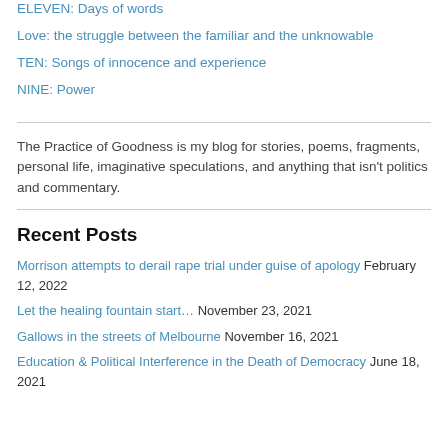ELEVEN: Days of words
Love: the struggle between the familiar and the unknowable
TEN: Songs of innocence and experience
NINE: Power
The Practice of Goodness is my blog for stories, poems, fragments, personal life, imaginative speculations, and anything that isn't politics and commentary.
Recent Posts
Morrison attempts to derail rape trial under guise of apology February 12, 2022
Let the healing fountain start… November 23, 2021
Gallows in the streets of Melbourne November 16, 2021
Education & Political Interference in the Death of Democracy June 18, 2021